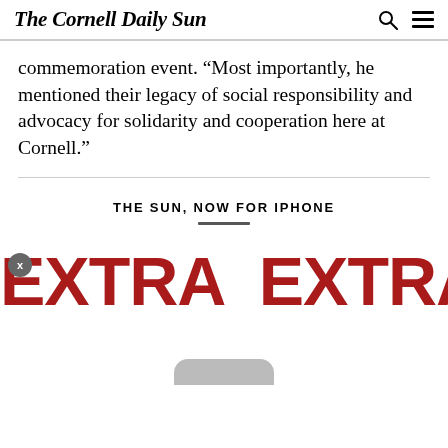The Cornell Daily Sun
commemoration event. “Most importantly, he mentioned their legacy of social responsibility and advocacy for solidarity and cooperation here at Cornell.”
THE SUN, NOW FOR IPHONE
[Figure (screenshot): App promotion banner showing 'EXTRA EXTRA' in large bold red text over a white background, with a small circular close (X) button and the bottom edge of a phone graphic.]